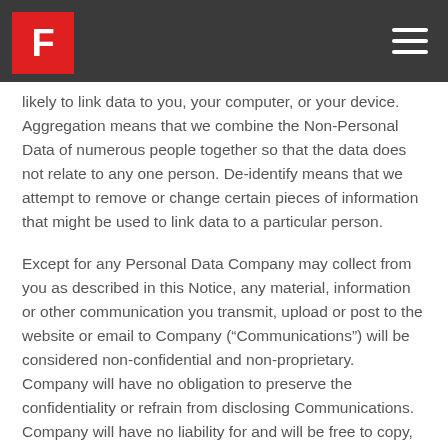F [logo] [hamburger menu]
likely to link data to you, your computer, or your device. Aggregation means that we combine the Non-Personal Data of numerous people together so that the data does not relate to any one person. De-identify means that we attempt to remove or change certain pieces of information that might be used to link data to a particular person.
Except for any Personal Data Company may collect from you as described in this Notice, any material, information or other communication you transmit, upload or post to the website or email to Company (“Communications”) will be considered non-confidential and non-proprietary.  Company will have no obligation to preserve the confidentiality or refrain from disclosing Communications.  Company will have no liability for and will be free to copy, disclose, distribute, incorporate and otherwise use the Communications and all data, images,